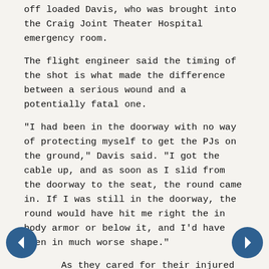off loaded Davis, who was brought into the Craig Joint Theater Hospital emergency room.
The flight engineer said the timing of the shot is what made the difference between a serious wound and a potentially fatal one.
"I had been in the doorway with no way of protecting myself to get the PJs on the ground," Davis said. "I got the cable up, and as soon as I slid from the doorway to the seat, the round came in. If I was still in the doorway, the round would have hit me right the in body armor or below it, and I'd have been in much worse shape."
As they cared for their injured crew member, Pedro 84's crew also worked to find a replacement for Davis so they could